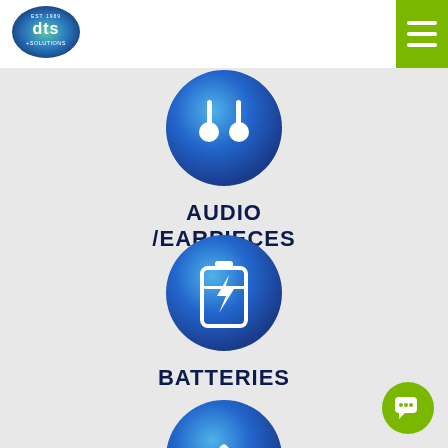[Figure (logo): DTS Plus Solutions logo — circular green/blue gradient with white text]
[Figure (illustration): Earphones/audio icon inside blue gradient circle]
AUDIO /EARPIECES
[Figure (illustration): Battery/charging icon inside blue gradient circle]
BATTERIES
[Figure (illustration): Partially visible icon inside blue gradient circle at bottom]